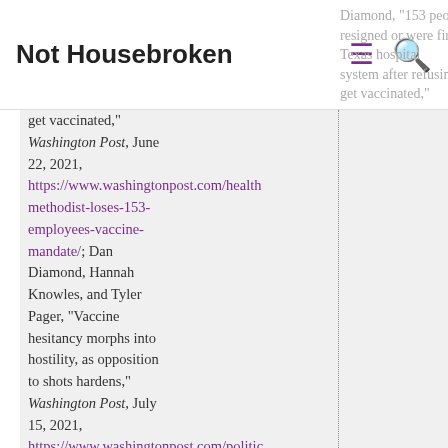Not Housebroken
Diamond, "153 people resigned or were fired Texas hospital system after refusing to get vaccinated," Washington Post, June 22, 2021, https://www.washingtonpost.com/health/methodist-loses-153-employees-vaccine-mandate/; Dan Diamond, Hannah Knowles, and Tyler Pager, "Vaccine hesitancy morphs into hostility, as opposition to shots hardens," Washington Post, July 15, 2021, https://www.washingtonpost.com/politics/vaccines-biden-trump/2021/07/15/adaf6c7e-e4bd-11eb-a41e-c8442c213fa8_story.html; Jackie Drees, "Vaccine passports: 23 states with bans, limitations & green lights," Becker's Healthcare, May 26, 2021, https://www.beckershospitalreview.com/